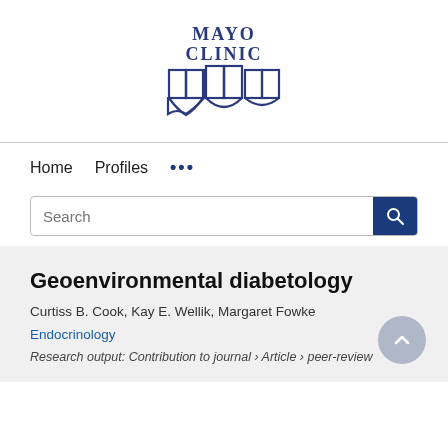[Figure (logo): Mayo Clinic logo with text MAYO CLINIC above and shield/crest icon below in dark navy blue]
Home   Profiles   ...
Search
Geoenvironmental diabetology
Curtiss B. Cook, Kay E. Wellik, Margaret Fowke
Endocrinology
Research output: Contribution to journal › Article › peer-review